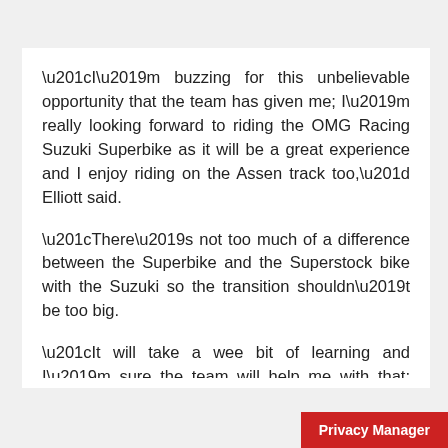“I’m buzzing for this unbelievable opportunity that the team has given me; I’m really looking forward to riding the OMG Racing Suzuki Superbike as it will be a great experience and I enjoy riding on the Assen track too,” Elliott said.
“There’s not too much of a difference between the Superbike and the Superstock bike with the Suzuki so the transition shouldn’t be too big.
“It will take a wee bit of learning and I’m sure the team will help me with that; Ray Stringer will be working with me, so